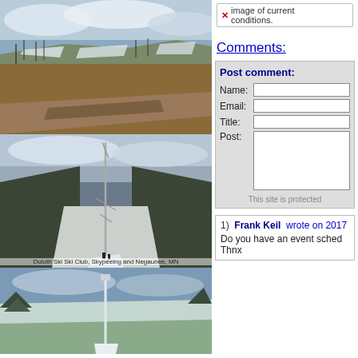[Figure (photo): Ski slope hillside with bare trees and patches of snow, road in foreground, cloudy sky]
[Figure (photo): Black and white aerial view of a ski jump hill with forest on either side]
Duluth Ski Ski Club, Skypeeing and Negaunee, MN
[Figure (photo): Aerial view of ski jump structure surrounded by snow-covered forested hills]
image or current conditions.
Comments:
Post comment:
Name:
Email:
Title:
Post:
This site is protected
1)  Frank Keil  wrote on 2017
Do you have an event schedule
Thnx